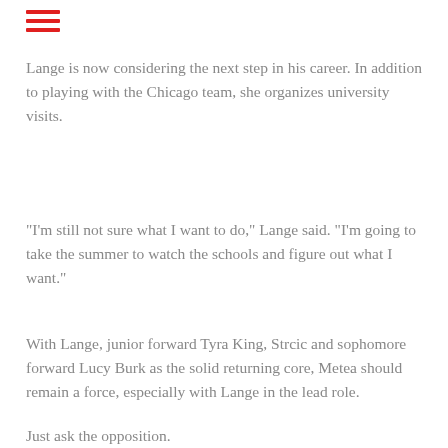[Figure (other): Three red horizontal lines icon (hamburger menu icon)]
Lange is now considering the next step in his career. In addition to playing with the Chicago team, she organizes university visits.
“I’m still not sure what I want to do,” Lange said. “I’m going to take the summer to watch the schools and figure out what I want.”
With Lange, junior forward Tyra King, Strcic and sophomore forward Lucy Burk as the solid returning core, Metea should remain a force, especially with Lange in the lead role.
Just ask the opposition.